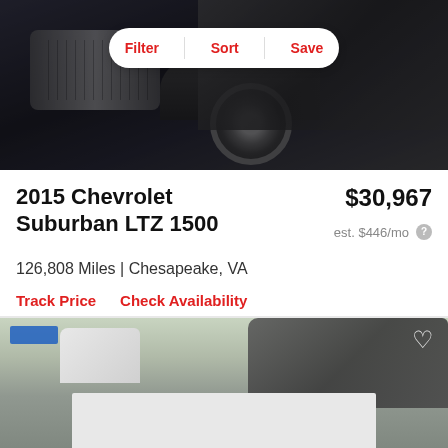[Figure (photo): Front view of a black 2015 Chevrolet Suburban SUV photographed from slightly below and front-left angle, showing grille, headlights, and wheel]
Filter  Sort  Save
2015 Chevrolet Suburban LTZ 1500
$30,967
est. $446/mo
126,808 Miles | Chesapeake, VA
Track Price   Check Availability
[Figure (photo): Outdoor dealership lot photo showing a white SUV and a darker SUV parked at a dealership with signage visible in the background]